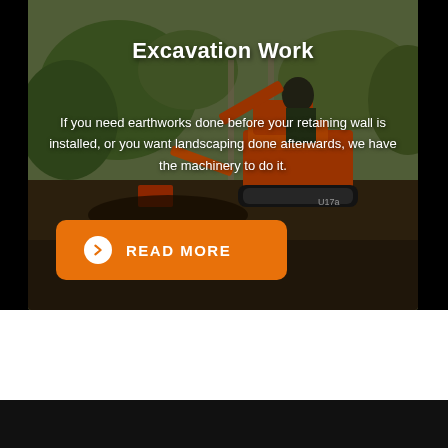[Figure (photo): Photograph of a man operating a small orange excavator/mini digger doing earthworks, with a garden/outdoor landscape background. The machine is red/orange and branded with partial text visible.]
Excavation Work
If you need earthworks done before your retaining wall is installed, or you want landscaping done afterwards, we have the machinery to do it.
READ MORE